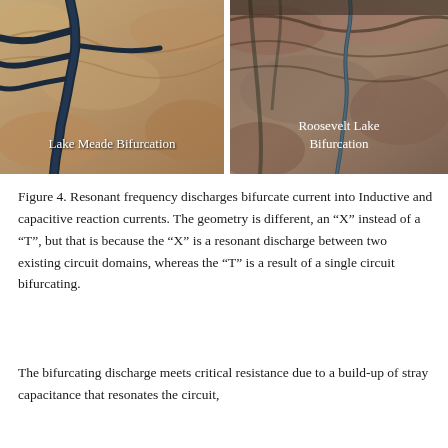[Figure (photo): Aerial/satellite photograph of Lake Meade Bifurcation showing a dark branching water body in arid landscape. White text label reads 'Lake Meade Bifurcation'.]
[Figure (photo): Aerial/satellite photograph of Roosevelt Lake Bifurcation showing mountainous terrain with a river or water feature. White text labels read 'Roosevelt Lake Bifurcation'.]
Figure 4. Resonant frequency discharges bifurcate current into Inductive and capacitive reaction currents. The geometry is different, an “X” instead of a “T”, but that is because the “X” is a resonant discharge between two existing circuit domains, whereas the “T” is a result of a single circuit bifurcating.
The bifurcating discharge meets critical resistance due to a build-up of stray capacitance that resonates the circuit,